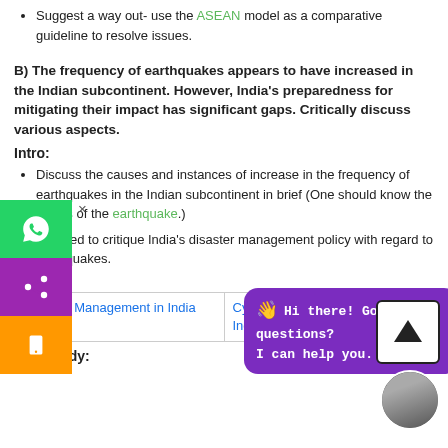Suggest a way out- use the ASEAN model as a comparative guideline to resolve issues.
B) The frequency of earthquakes appears to have increased in the Indian subcontinent. However, India’s preparedness for mitigating their impact has significant gaps. Critically discuss various aspects.
Intro:
Discuss the causes and instances of increase in the frequency of earthquakes in the Indian subcontinent in brief (One should know the basics of the earthquake.)
Proceed to critique India’s disaster management policy with regard to earthquakes.
ead:
| Disaster Management in India | Cyclone Disaster Management in India |
Body: